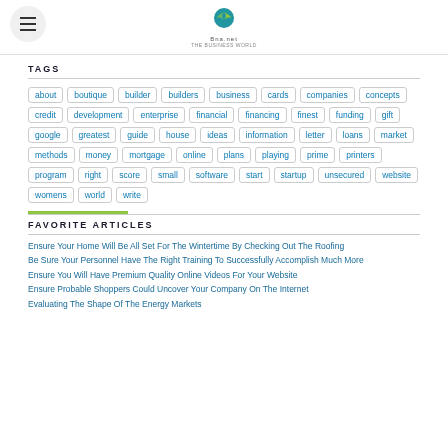Menu | Logo
TAGS
about boutique builder builders business cards companies concepts credit development enterprise financial financing finest funding gift google greatest guide house ideas information letter loans market methods money mortgage online plans playing prime printers program right score small software start startup unsecured website womens world write
FAVORITE ARTICLES
Ensure Your Home Will Be All Set For The Wintertime By Checking Out The Roofing
Be Sure Your Personnel Have The Right Training To Successfully Accomplish Much More
Ensure You Will Have Premium Quality Online Videos For Your Website
Ensure Probable Shoppers Could Uncover Your Company On The Internet
Evaluating The Shape Of The Energy Markets